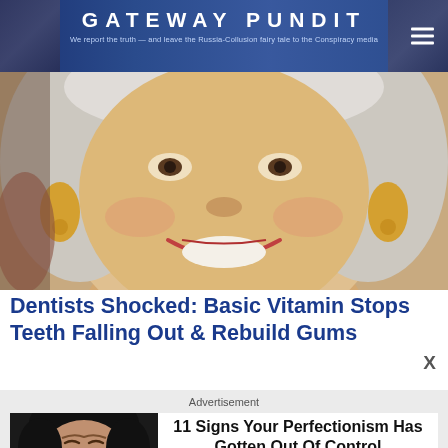GATEWAY PUNDIT — We report the truth — and leave the Russia-Collusion fairy tale to the Conspiracy media
[Figure (photo): Close-up photo of an older smiling woman with gray-white curly hair and gold earrings]
Dentists Shocked: Basic Vitamin Stops Teeth Falling Out & Rebuild Gums
Advertisement
[Figure (photo): Advertisement image showing a person making a scrunched face expression]
11 Signs Your Perfectionism Has Gotten Out Of Control
Herbeauty